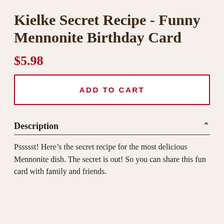Kielke Secret Recipe - Funny Mennonite Birthday Card
$5.98
ADD TO CART
Description
Pssssst! Here’s the secret recipe for the most delicious Mennonite dish. The secret is out! So you can share this fun card with family and friends.